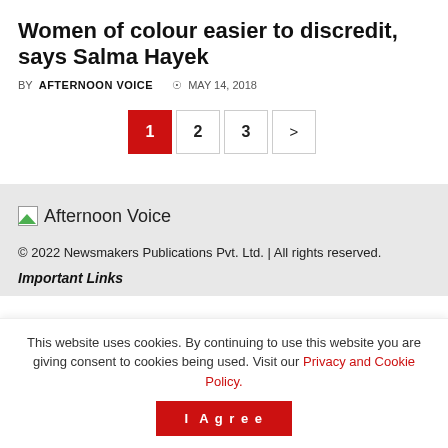Women of colour easier to discredit, says Salma Hayek
BY AFTERNOON VOICE  ⊙ MAY 14, 2018
[Figure (other): Pagination controls with buttons 1 (active, red), 2, 3, and a next arrow]
[Figure (logo): Afternoon Voice logo placeholder image with text 'Afternoon Voice']
© 2022 Newsmakers Publications Pvt. Ltd. | All rights reserved.
Important Links
This website uses cookies. By continuing to use this website you are giving consent to cookies being used. Visit our Privacy and Cookie Policy.
I Agree